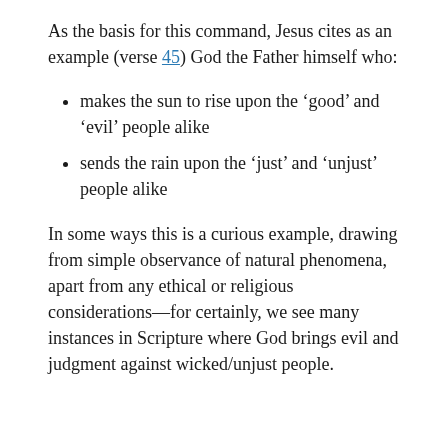As the basis for this command, Jesus cites as an example (verse 45) God the Father himself who:
makes the sun to rise upon the ‘good’ and ‘evil’ people alike
sends the rain upon the ‘just’ and ‘unjust’ people alike
In some ways this is a curious example, drawing from simple observance of natural phenomena, apart from any ethical or religious considerations—for certainly, we see many instances in Scripture where God brings evil and judgment against wicked/unjust people.